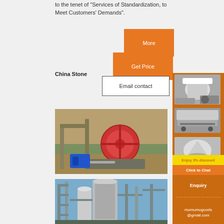to the tenet of "Services of Standardization, to Meet Customers' Demands".
[Figure (other): Orange 'More' button]
[Figure (other): Orange 'Get Price' button]
[Figure (other): White 'Email contact' button with border]
China Stone
[Figure (photo): Photo of stone crusher machine with flywheel and motor]
[Figure (photo): Photo of industrial stone crushing plant with silos and scaffolding]
[Figure (infographic): Right sidebar with machinery images, Enjoy 3% discount, Click to Chat, Enquiry panel with mumumugoods@gmail.com]